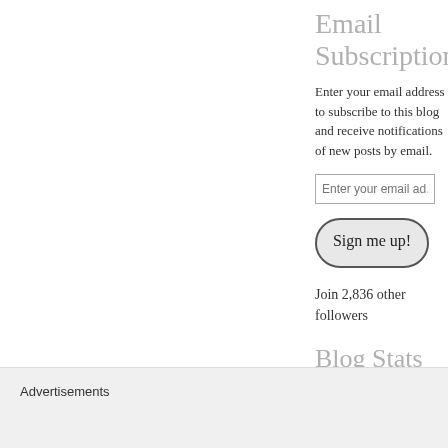Email Subscription
Enter your email address to subscribe to this blog and receive notifications of new posts by email.
Enter your email address (input field)
Sign me up!
Join 2,836 other followers
Blog Stats
4,586,848 hits
Advertisements